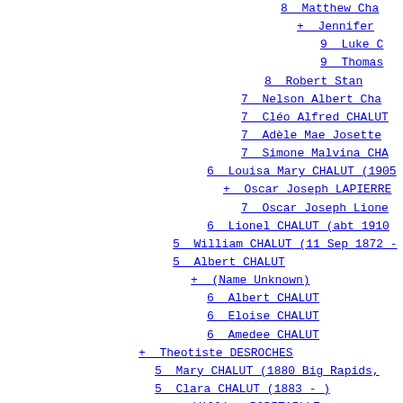8  Matthew Cha...
+  Jennifer...
9  Luke C...
9  Thomas...
8  Robert Stan...
7  Nelson Albert Cha...
7  Cléo Alfred CHALUT...
7  Adèle Mae Josette...
7  Simone Malvina CHA...
6  Louisa Mary CHALUT (1905...
+  Oscar Joseph LAPIERRE...
7  Oscar Joseph Lione...
6  Lionel CHALUT (abt 1910...
5  William CHALUT (11 Sep 1872 -...
5  Albert CHALUT
+  (Name Unknown)
6  Albert CHALUT
6  Eloise CHALUT
6  Amedee CHALUT
+  Theotiste DESROCHES
5  Mary CHALUT (1880 Big Rapids,...
5  Clara CHALUT (1883 - )
+  William ROBITAILLE
+  Oliva MORIN
5  Marc CHALUT (Sault Ste Marie,...
+  Ida CHARTRAND
5  Omer CHALUT ( - Detroit, Mich...
+  Bella LALIBERTE
5  Arthur CHALUT (13 Apr 1885 Pa...
5  Wilfred CHALUT (1894 Papineau...
+  Lucille THORPE